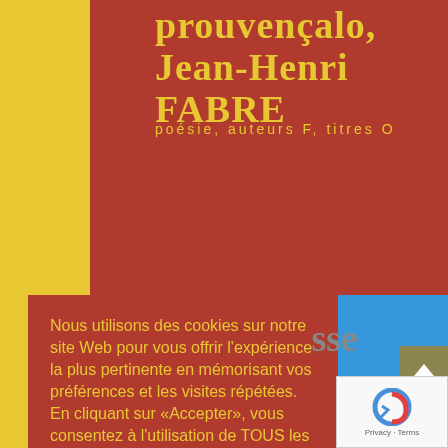provençalo, Jean-Henri FABRE
poésie, auteurs F, titres O
Nous utilisons des cookies sur notre site Web pour vous offrir l'expérience la plus pertinente en mémorisant vos préférences et les visites répétées. En cliquant sur «Accepter», vous consentez à l'utilisation de TOUS les cookies.
Paramètres des cookies
ACCEPTER
REJETER
sse
[Figure (logo): reCAPTCHA logo with Privacy and Terms links]